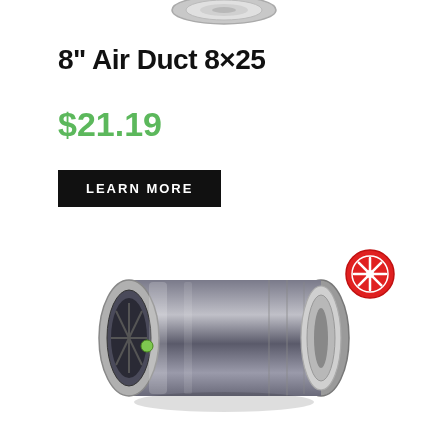[Figure (photo): Top portion of a silver/metallic cylindrical air duct fan unit, partially cropped at top]
8" Air Duct 8×25
$21.19
LEARN MORE
[Figure (photo): Inline duct fan / booster fan, cylindrical metallic silver body with visible internal fan blade, green capacitor component visible inside opening. A red circular fan icon badge overlaid in upper right.]